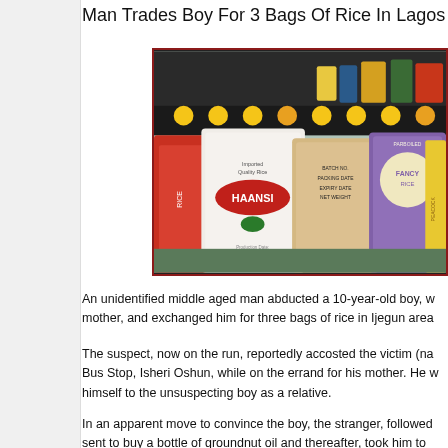Man Trades Boy For 3 Bags Of Rice In Lagos
[Figure (photo): Bags of rice stacked together, including branded bags such as HAANSI rice, in a market setting with colorful packaging visible in the background.]
An unidentified middle aged man abducted a 10-year-old boy, w... mother, and exchanged him for three bags of rice in Ijegun area...
The suspect, now on the run, reportedly accosted the victim (na... Bus Stop, Isheri Oshun, while on the errand for his mother. He w... himself to the unsuspecting boy as a relative.
In an apparent move to convince the boy, the stranger, followed... sent to buy a bottle of groundnut oil and thereafter, took him to...